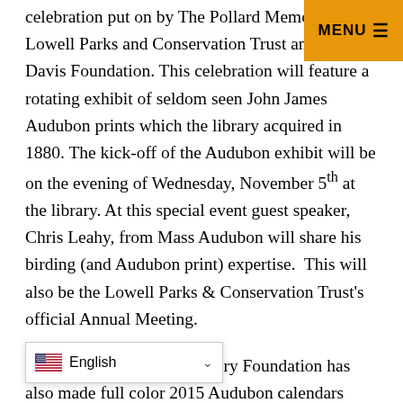celebration put on by The Pollard Memorial Lowell Parks and Conservation Trust and the Davis Foundation. This celebration will feature a rotating exhibit of seldom seen John James Audubon prints which the library acquired in 1880. The kick-off of the Audubon exhibit will be on the evening of Wednesday, November 5th at the library. At this special event guest speaker, Chris Leahy, from Mass Audubon will share his birding (and Audubon print) expertise.  This will also be the Lowell Parks & Conservation Trust's official Annual Meeting.
The Pollard Memorial Library Foundation has also made full color 2015 Audubon calendars ($15) and blank note card sets ($10 ea) which are available for purchase at the Lowell Reads events or thru the C…partment. Please call 978-